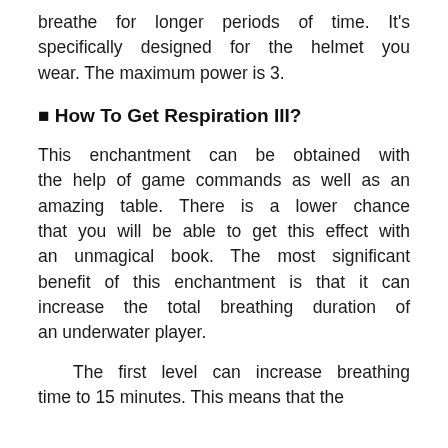breathe for longer periods of time. It's specifically designed for the helmet you wear. The maximum power is 3.
🔷 How To Get Respiration III?
This enchantment can be obtained with the help of game commands as well as an amazing table. There is a lower chance that you will be able to get this effect with an unmagical book. The most significant benefit of this enchantment is that it can increase the total breathing duration of an underwater player.
The first level can increase breathing time to 15 minutes. This means that the